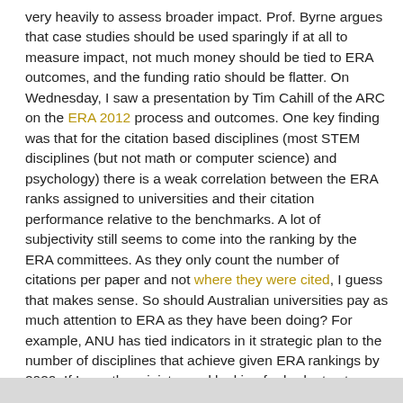very heavily to assess broader impact. Prof. Byrne argues that case studies should be used sparingly if at all to measure impact, not much money should be tied to ERA outcomes, and the funding ratio should be flatter. On Wednesday, I saw a presentation by Tim Cahill of the ARC on the ERA 2012 process and outcomes. One key finding was that for the citation based disciplines (most STEM disciplines (but not math or computer science) and psychology) there is a weak correlation between the ERA ranks assigned to universities and their citation performance relative to the benchmarks. A lot of subjectivity still seems to come into the ranking by the ERA committees. As they only count the number of citations per paper and not where they were cited, I guess that makes sense. So should Australian universities pay as much attention to ERA as they have been doing? For example, ANU has tied indicators in it strategic plan to the number of disciplines that achieve given ERA rankings by 2020. If I was the minister and looking for budget cuts would I want to continue with ERA on this basis?